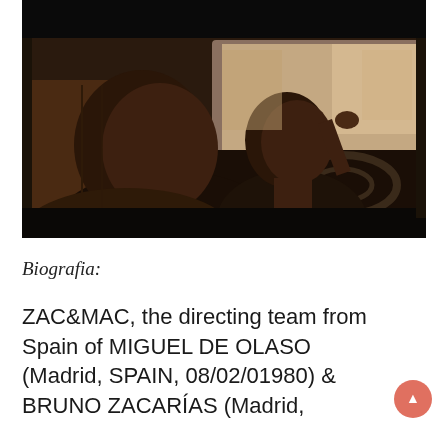[Figure (photo): Film still showing two young Black men sitting in the front seat of a car. The driver is in the foreground on the left, the passenger on the right. Interior is dark with leather seats. Shot from outside looking through the passenger window.]
Biografia:
ZAC&MAC, the directing team from Spain of MIGUEL DE OLASO (Madrid, SPAIN, 08/02/01980) & BRUNO ZACARÍAS (Madrid,